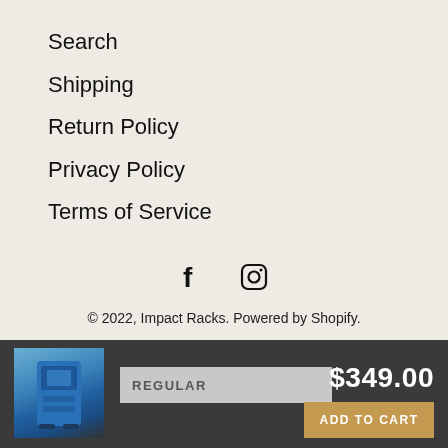Search
Shipping
Return Policy
Privacy Policy
Terms of Service
[Figure (other): Facebook and Instagram social media icons]
© 2022, Impact Racks. Powered by Shopify.
[Figure (photo): Photo of a blue Impact Racks product]
REGULAR
$349.00
ADD TO CART